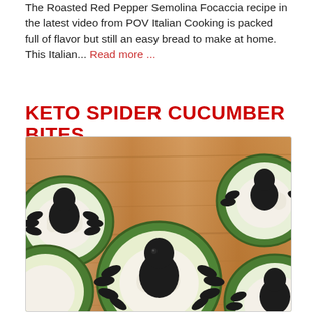The Roasted Red Pepper Semolina Focaccia recipe in the latest video from POV Italian Cooking is packed full of flavor but still an easy bread to make at home. This Italian... Read more ...
KETO SPIDER CUCUMBER BITES
[Figure (photo): Photo of keto spider cucumber bites: cucumber slices topped with swirled cream cheese and black olive spiders arranged on a wooden cutting board.]